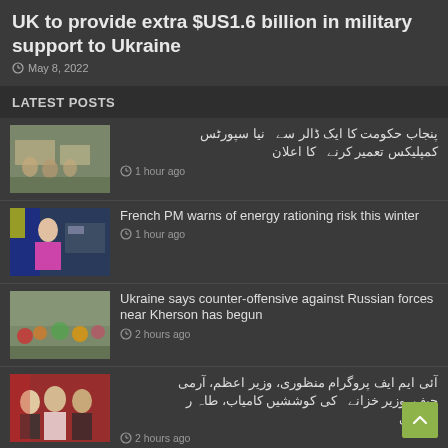UK to provide extra $US1.6 billion in military support to Ukraine
May 8, 2022
LATEST POSTS
[Figure (photo): People seated around a conference table in a meeting room]
پنجاب حکومت کا ایک ڈالر سے نیا سپورٹس کمپلیکس تعمیر کرنے کا اعلان
1 hour ago
[Figure (photo): Woman in pink jacket speaking at a podium with EU flag visible]
French PM warns of energy rationing risk this winter
1 hour ago
[Figure (photo): Outdoor scene with people and colorful umbrellas]
Ukraine says counter-offensive against Russian forces near Kherson has begun
2 hours ago
[Figure (photo): Group of men in traditional South Asian attire]
آئی ایم ایف پروگرام منظوری، وزیر اعظم، آرمی چیف، وزیر خزانے کی کوششیں کامیاب، طاہر اشرفی
2 hours ago